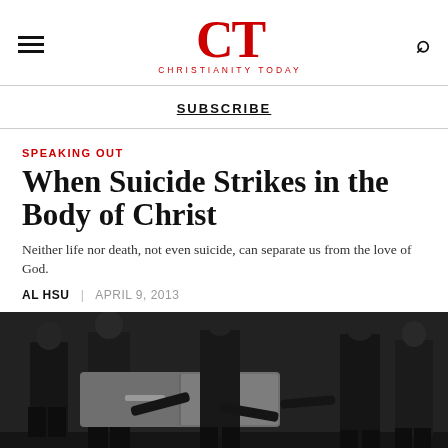CT CHRISTIANITY TODAY
SUBSCRIBE
SPEAKING OUT
When Suicide Strikes in the Body of Christ
Neither life nor death, not even suicide, can separate us from the love of God.
AL HSU | APRIL 9, 2013
[Figure (photo): Black and white photograph of pallbearers in dark suits carrying a casket]